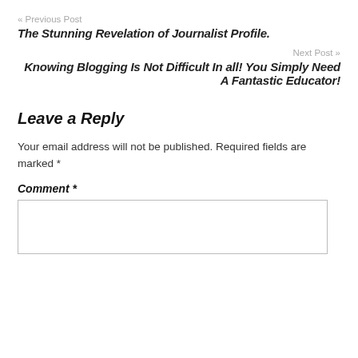« Previous Post
The Stunning Revelation of Journalist Profile.
Next Post »
Knowing Blogging Is Not Difficult In all! You Simply Need A Fantastic Educator!
Leave a Reply
Your email address will not be published. Required fields are marked *
Comment *